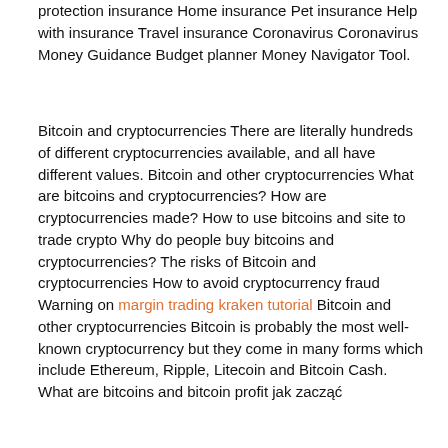protection insurance Home insurance Pet insurance Help with insurance Travel insurance Coronavirus Coronavirus Money Guidance Budget planner Money Navigator Tool.
Bitcoin and cryptocurrencies There are literally hundreds of different cryptocurrencies available, and all have different values. Bitcoin and other cryptocurrencies What are bitcoins and cryptocurrencies? How are cryptocurrencies made? How to use bitcoins and site to trade crypto Why do people buy bitcoins and cryptocurrencies? The risks of Bitcoin and cryptocurrencies How to avoid cryptocurrency fraud Warning on margin trading kraken tutorial Bitcoin and other cryptocurrencies Bitcoin is probably the most well-known cryptocurrency but they come in many forms which include Ethereum, Ripple, Litecoin and Bitcoin Cash. What are bitcoins and bitcoin profit jak zacząć
[Figure (screenshot): Tweet from @Ad_Infinitum (@CryptoMessiah) with Follow button and dropdown arrow. Tweet text: 'So you've been paying @WolfOfPoloniex to teach you how to trade? Here's his bitmex log...' Below the tweet is a partial table showing columns RealisedPNL and -26.97187518 XBT]